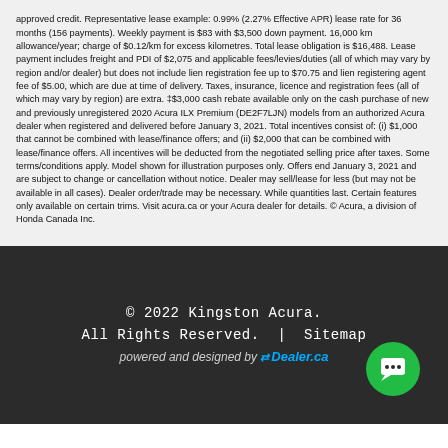approved credit. Representative lease example: 0.99% (2.27% Effective APR) lease rate for 36 months (156 payments). Weekly payment is $83 with $3,500 down payment. 16,000 km allowance/year; charge of $0.12/km for excess kilometres. Total lease obligation is $16,488. Lease payment includes freight and PDI of $2,075 and applicable fees/levies/duties (all of which may vary by region and/or dealer) but does not include lien registration fee up to $70.75 and lien registering agent fee of $5.00, which are due at time of delivery. Taxes, insurance, licence and registration fees (all of which may vary by region) are extra. ‡$3,000 cash rebate available only on the cash purchase of new and previously unregistered 2020 Acura ILX Premium (DE2F7LJN) models from an authorized Acura dealer when registered and delivered before January 3, 2021. Total incentives consist of: (i) $1,000 that cannot be combined with lease/finance offers; and (ii) $2,000 that can be combined with lease/finance offers. All incentives will be deducted from the negotiated selling price after taxes. Some terms/conditions apply. Model shown for illustration purposes only. Offers end January 3, 2021 and are subject to change or cancellation without notice. Dealer may sell/lease for less (but may not be available in all cases). Dealer order/trade may be necessary. While quantities last. Certain features only available on certain trims. Visit acura.ca or your Acura dealer for details. © Acura, a division of Honda Canada Inc.
© 2022 Kingston Acura. All Rights Reserved. | Sitemap powered and designed by eDealer.ca